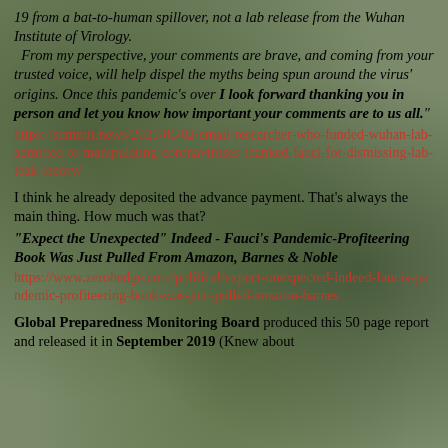19 from a bat-to-human spillover, not a lab release from the Wuhan Institute of Virology. From my perspective, your comments are brave, and coming from your trusted voice, will help dispel the myths being spun around the virus' origins. Once this pandemic's over I look forward thanking you in person and let you know how important your comments are to us all."
https://summit.news/2021/06/02/email-researcher-who-funded-wuhan-lab-admitted-to-manipulating-coronaviruses-thanked-fauci-for-dismissing-lab-leak-theory/
I think he already deposited the advance payment. That's always the main thing. How much was that?
"Expect the Unexpected" Indeed - Fauci's Pandemic-Profiteering Book Was Just Pulled From Amazon, Barnes & Noble
https://www.zerohedge.com/political/expect-unexpected-indeed-faucis-pandemic-profiteering-book-was-just-pulled-amazon-barnes
Global Preparedness Monitoring Board produced this 50 page report and released it in September 2019 (Knew about